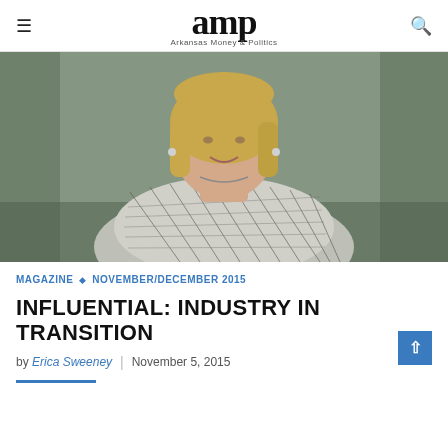amp Arkansas Money & Politics
[Figure (photo): Portrait photo of a woman with blonde bob haircut wearing a patterned black and white sweater, arms crossed, smiling, photographed outdoors]
MAGAZINE  ◇  NOVEMBER/DECEMBER 2015
INFLUENTIAL: INDUSTRY IN TRANSITION
by Erica Sweeney  |  November 5, 2015